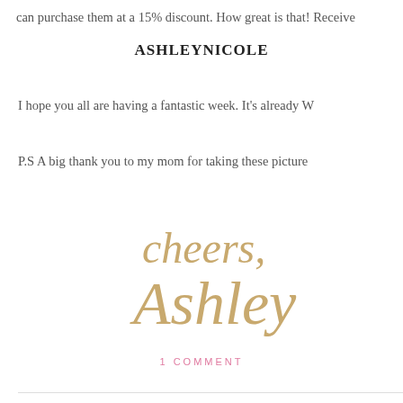can purchase them at a 15% discount. How great is that! Receive
ASHLEYNICOLE
I hope you all are having a fantastic week. It's already W
P.S A big thank you to my mom for taking these picture
[Figure (illustration): Cursive handwritten-style signature reading 'cheers, Ashley' in gold/tan color]
1 COMMENT